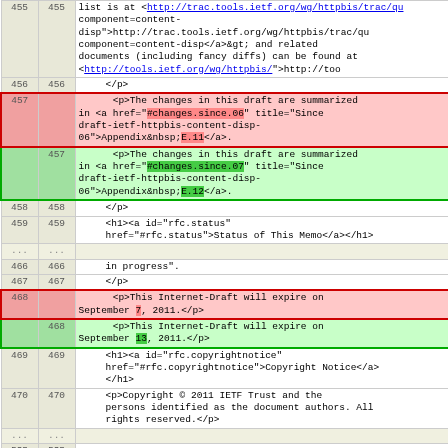| old ln | new ln | content |
| --- | --- | --- |
| 455 | 455 | list is at &lt;<a href="http://trac.tools.ietf.org/wg/httpbis/trac/qu component=content-disp">http://trac.tools.ietf.org/wg/httpbis/trac/qu component=content-disp</a>&gt; and related documents (including fancy diffs) can be found at &lt;<a href="http://tools.ietf.org/wg/httpbis/">http://too |
| 456 | 456 | </p> |
| 457 |  | <p>The changes in this draft are summarized in <a href="#changes.since.06" title="Since draft-ietf-httpbis-content-disp-06">Appendix&nbsp;E.11</a>. |
|  | 457 | <p>The changes in this draft are summarized in <a href="#changes.since.07" title="Since draft-ietf-httpbis-content-disp-06">Appendix&nbsp;E.12</a>. |
| 458 | 458 | </p> |
| 459 | 459 | <h1><a id="rfc.status" href="#rfc.status">Status of This Memo</a></h1> |
| ... | ... |  |
| 466 | 466 | in progress". |
| 467 | 467 | </p> |
| 468 |  | <p>This Internet-Draft will expire on September 7, 2011.</p> |
|  | 468 | <p>This Internet-Draft will expire on September 13, 2011.</p> |
| 469 | 469 | <h1><a id="rfc.copyrightnotice" href="#rfc.copyrightnotice">Copyright Notice</a></h1> |
| 470 | 470 | <p>Copyright © 2011 IETF Trust and the persons identified as the document authors. All rights reserved.</p> |
| ... | ... |  |
| 535 | 535 |  |